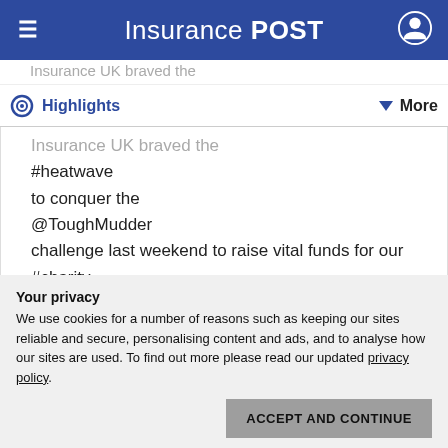Insurance POST
Highlights | More
Insurance UK braved the #heatwave to conquer the @ToughMudder challenge last weekend to raise vital funds for our #charity . Thank you!! #FundraisingFriday #TeamBrompton @benefactgroup @BromptonHeart
Your privacy
We use cookies for a number of reasons such as keeping our sites reliable and secure, personalising content and ads, and to analyse how our sites are used. To find out more please read our updated privacy policy.
ACCEPT AND CONTINUE